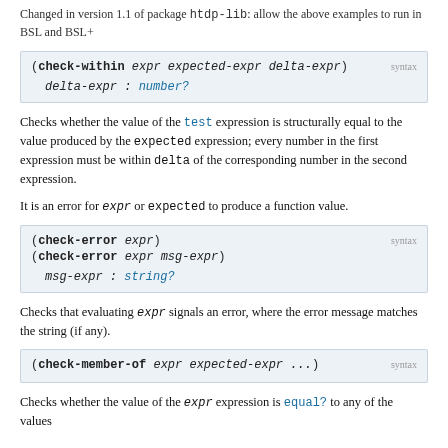Changed in version 1.1 of package htdp-lib: allow the above examples to run in BSL and BSL+
(check-within expr expected-expr delta-expr)  syntax
  delta-expr : number?
Checks whether the value of the test expression is structurally equal to the value produced by the expected expression; every number in the first expression must be within delta of the corresponding number in the second expression.
It is an error for expr or expected to produce a function value.
(check-error expr)  syntax
(check-error expr msg-expr)
  msg-expr : string?
Checks that evaluating expr signals an error, where the error message matches the string (if any).
(check-member-of expr expected-expr ...)  syntax
Checks whether the value of the expr expression is equal? to any of the values